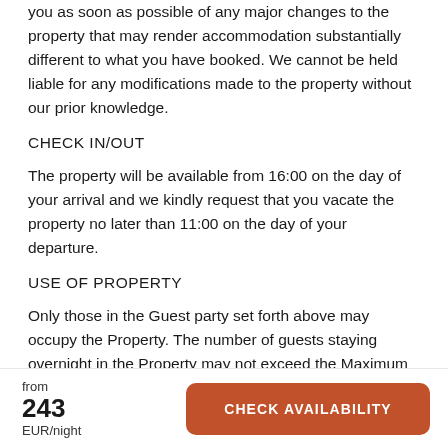you as soon as possible of any major changes to the property that may render accommodation substantially different to what you have booked. We cannot be held liable for any modifications made to the property without our prior knowledge.
CHECK IN/OUT
The property will be available from 16:00 on the day of your arrival and we kindly request that you vacate the property no later than 11:00 on the day of your departure.
USE OF PROPERTY
Only those in the Guest party set forth above may occupy the Property. The number of guests staying overnight in the Property may not exceed the Maximum Occupancy indicated. In the event the number of guests
from 243 EUR/night CHECK AVAILABILITY